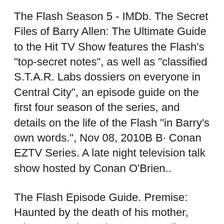The Flash Season 5 - IMDb. The Secret Files of Barry Allen: The Ultimate Guide to the Hit TV Show features the Flash's "top-secret notes", as well as "classified S.T.A.R. Labs dossiers on everyone in Central City", an episode guide on the first four season of the series, and details on the life of the Flash "in Barry's own words.", Nov 08, 2010B B· Conan EZTV Series. A late night television talk show hosted by Conan O'Brien..
The Flash Episode Guide. Premise: Haunted by the death of his mother, crime scene investigator Barry Allen becomes a brilliant but tardy crime-